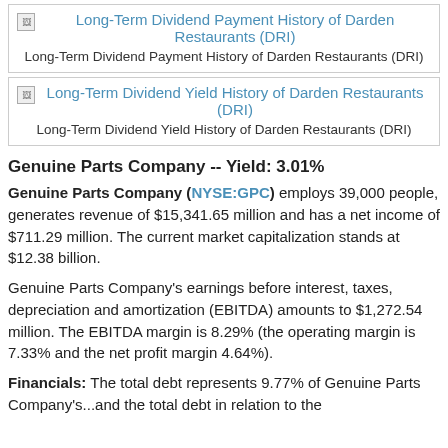[Figure (other): Broken image placeholder for Long-Term Dividend Payment History of Darden Restaurants (DRI) with link text]
Long-Term Dividend Payment History of Darden Restaurants (DRI)
[Figure (other): Broken image placeholder for Long-Term Dividend Yield History of Darden Restaurants (DRI) with link text]
Long-Term Dividend Yield History of Darden Restaurants (DRI)
Genuine Parts Company -- Yield: 3.01%
Genuine Parts Company (NYSE:GPC) employs 39,000 people, generates revenue of $15,341.65 million and has a net income of $711.29 million. The current market capitalization stands at $12.38 billion.
Genuine Parts Company's earnings before interest, taxes, depreciation and amortization (EBITDA) amounts to $1,272.54 million. The EBITDA margin is 8.29% (the operating margin is 7.33% and the net profit margin 4.64%).
Financials: The total debt represents 9.77% of Genuine Parts Company's...and the total debt in relation to the...